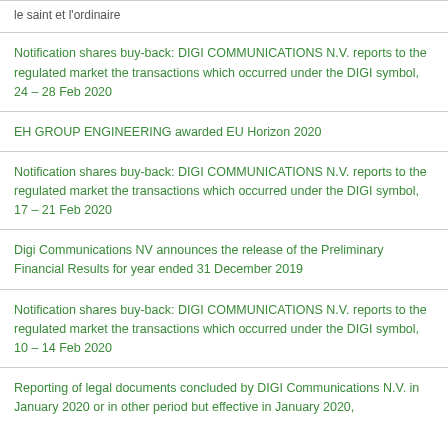le saint et l'ordinaire
Notification shares buy-back: DIGI COMMUNICATIONS N.V. reports to the regulated market the transactions which occurred under the DIGI symbol, 24 – 28 Feb 2020
EH GROUP ENGINEERING awarded EU Horizon 2020
Notification shares buy-back: DIGI COMMUNICATIONS N.V. reports to the regulated market the transactions which occurred under the DIGI symbol, 17 – 21 Feb 2020
Digi Communications NV announces the release of the Preliminary Financial Results for year ended 31 December 2019
Notification shares buy-back: DIGI COMMUNICATIONS N.V. reports to the regulated market the transactions which occurred under the DIGI symbol, 10 – 14 Feb 2020
Reporting of legal documents concluded by DIGI Communications N.V. in January 2020 or in other period but effective in January 2020,